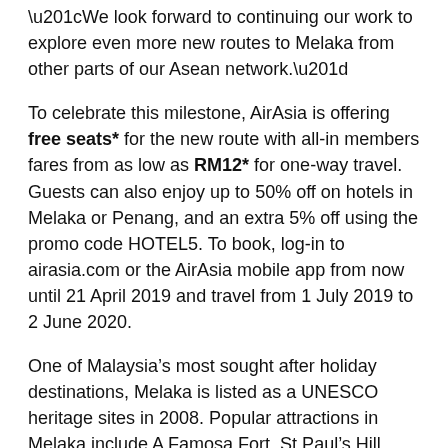“We look forward to continuing our work to explore even more new routes to Melaka from other parts of our Asean network.”
To celebrate this milestone, AirAsia is offering free seats* for the new route with all-in members fares from as low as RM12* for one-way travel. Guests can also enjoy up to 50% off on hotels in Melaka or Penang, and an extra 5% off using the promo code HOTEL5. To book, log-in to airasia.com or the AirAsia mobile app from now until 21 April 2019 and travel from 1 July 2019 to 2 June 2020.
One of Malaysia’s most sought after holiday destinations, Melaka is listed as a UNESCO heritage sites in 2008. Popular attractions in Melaka include A Famosa Fort, St Paul’s Hill, Stadthuys, and Christ Church which are the colonial buildings established during Portuguese, Dutch and British era. Travellers can also enjoy fun water activities in Melaka Wonderland; hire a trishaw for a relaxing tour in the heritage city and stroll along Melaka